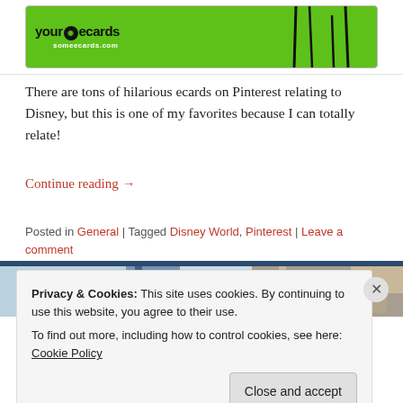[Figure (screenshot): Partial view of a someecards.com ecard with green background and logo]
There are tons of hilarious ecards on Pinterest relating to Disney, but this is one of my favorites because I can totally relate!
Continue reading →
Posted in General | Tagged Disney World, Pinterest | Leave a comment
[Figure (photo): Partial photo of a Disney building with blue sky]
Welcome to Disney in your Day!
Privacy & Cookies: This site uses cookies. By continuing to use this website, you agree to their use.
To find out more, including how to control cookies, see here: Cookie Policy
Close and accept